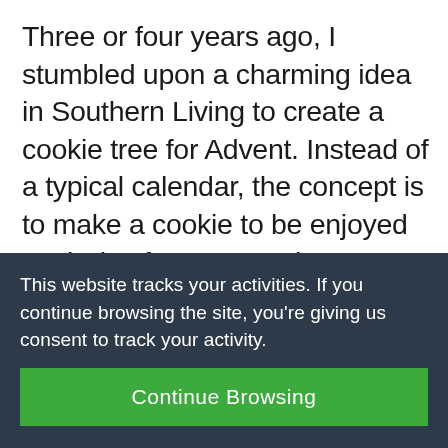Three or four years ago, I stumbled upon a charming idea in Southern Living to create a cookie tree for Advent. Instead of a typical calendar, the concept is to make a cookie to be enjoyed each day from December 1st through Christmas. This has become one of my favorite Christmas decorating traditions, as it
This website tracks your activities. If you continue browsing the site, you're giving us consent to track your activity.
Continue Browsing